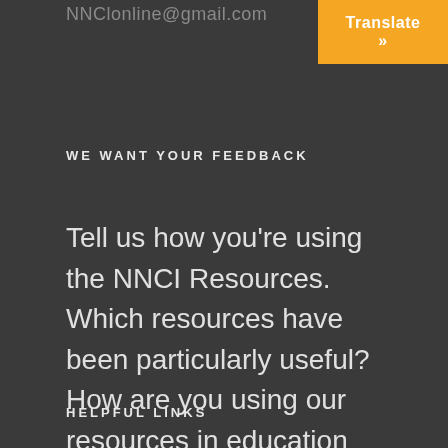NNClonline@gmail.com
Translate »
WE WANT YOUR FEEDBACK
Tell us how you're using the NNCI Resources. Which resources have been particularly useful? How are you using our resources in education and/or clinical practice?
HELPFUL LINKS